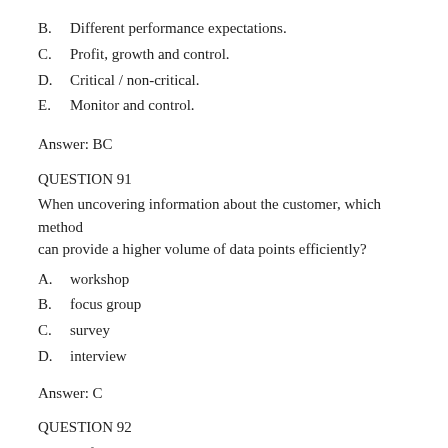B.    Different performance expectations.
C.    Profit, growth and control.
D.    Critical / non-critical.
E.    Monitor and control.
Answer: BC
QUESTION 91
When uncovering information about the customer, which method can provide a higher volume of data points efficiently?
A.    workshop
B.    focus group
C.    survey
D.    interview
Answer: C
QUESTION 92
CSFs define what an organization should be good at. Which two